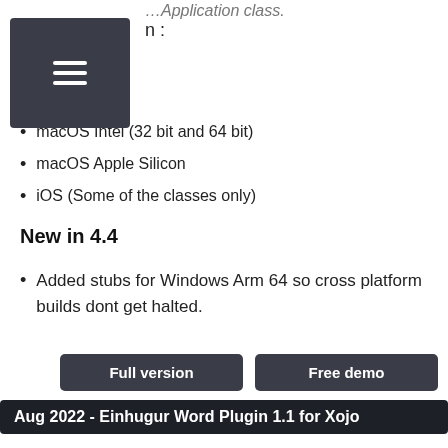n :
macOS Intel (32 bit and 64 bit)
macOS Apple Silicon
iOS (Some of the classes only)
New in 4.4
Added stubs for Windows Arm 64 so cross platform builds dont get halted.
Full version
Free demo
Aug 2022 - Einhugur Word Plugin 1.1 for Xojo
Word plugin is a Xojo plugin that enables you to create, read, write and edit Word docx files from Xojo code.

The plugin can:

Create new Word documents